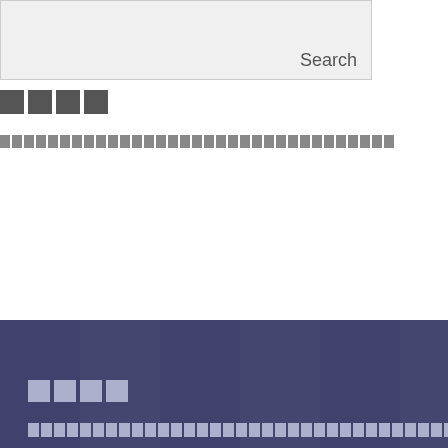[Figure (screenshot): Search box UI element with 'Search' label text on light gray background]
░░░░
░░░░░░░░░░░░░░░░░░░░░░░░░░░░░░░░░
[Figure (screenshot): Dark blue-purple section with placeholder content blocks representing title and text lines, with a highlighted row]
░░░░
░░░░░░░░░░░░░░░░░░░░░░░░░░░░░░░░░░░░░░░░░░░░░░░░░░░░░░░░░░
░░░░░░░░░░░░░░░░░░░░░░░░░░░░░░░░░
░░░░